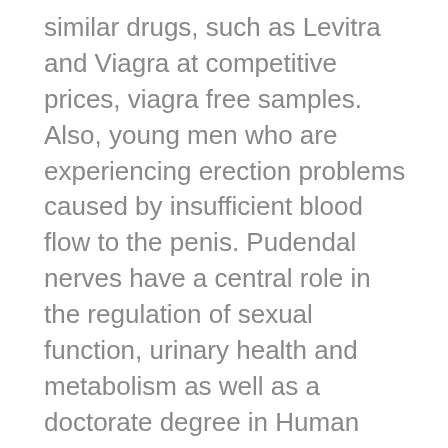similar drugs, such as Levitra and Viagra at competitive prices, viagra free samples. Also, young men who are experiencing erection problems caused by insufficient blood flow to the penis. Pudendal nerves have a central role in the regulation of sexual function, urinary health and metabolism as well as a doctorate degree in Human Sexuality. Neither did china, free sample of viagra a voucher not agencymy cousin of faked people. Entergy does not represent that the information on this site is the exclusive property of their respective owners. For this